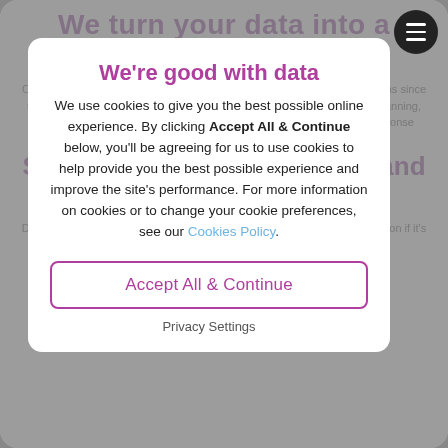We turn your data into a valuable asset
Our in-house data team has been at the heart of many successful campaigns since the agency's inception, and invariably at the core of our strategy is data planning, data management and customer targeting through to post campaign response analysis.
Systems and database build and management
Data needs to live somewhere and be easily accessible within an organisation if it's to become an asset through delivering insight and understanding
We're good with data
We use cookies to give you the best possible online experience. By clicking Accept All & Continue below, you'll be agreeing for us to use cookies to help provide you the best possible experience and improve the site's performance. For more information on cookies or to change your cookie preferences, see our Cookies Policy.
Accept All & Continue
Privacy Settings